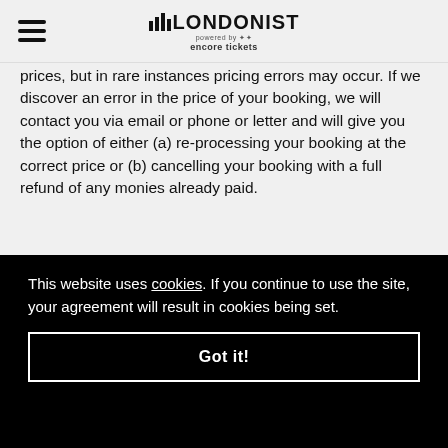LONDONIST powered by encore tickets
prices, but in rare instances pricing errors may occur. If we discover an error in the price of your booking, we will contact you via email or phone or letter and will give you the option of either (a) re-processing your booking at the correct price or (b) cancelling your booking with a full refund of any monies already paid.
This website uses cookies. If you continue to use the site, your agreement will result in cookies being set.
Got it!
Payment for all orders must be made by credit, debit card